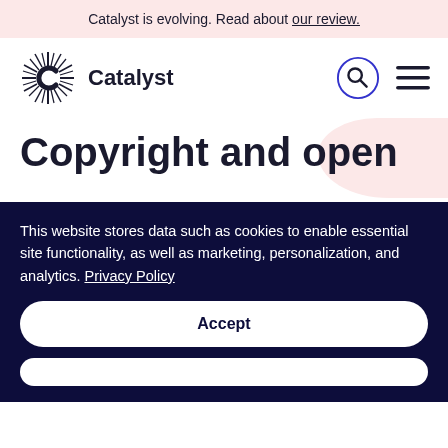Catalyst is evolving. Read about our review.
[Figure (logo): Catalyst logo with sunburst C icon and wordmark 'Catalyst']
Copyright and open
This website stores data such as cookies to enable essential site functionality, as well as marketing, personalization, and analytics. Privacy Policy
Accept